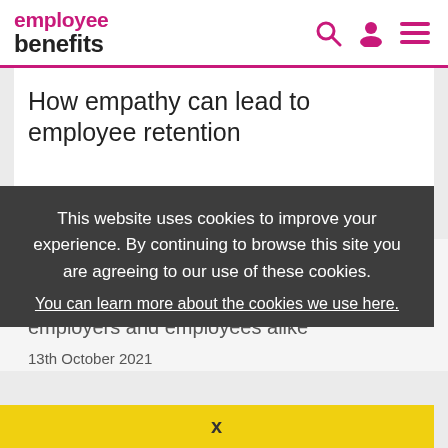employee benefits
How empathy can lead to employee retention
29th October 2021
This website uses cookies to improve your experience. By continuing to browse this site you are agreeing to our use of these cookies.
You can learn more about the cookies we use here.
National Work Life Week: wellbeing for employers and employees alike
13th October 2021
X